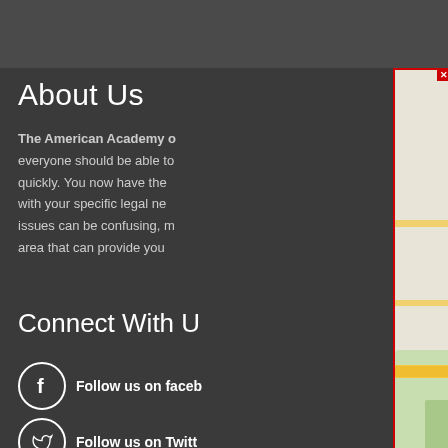About Us
The American Academy c… everyone should be able to… quickly. You now have the… with your specific legal ne… issues can be confusing, r… area that can provide you…
Connect With U…
Follow us on faceb…
Follow us on Twitt…
Follow us on Yout…
[Figure (map): Google Maps view showing Charlotte NC area with Douglas International Airport, Eagle Lake, Barclay Downs, Montclaire South, Pineville, and orange map pin markers. Map controls show + and - zoom buttons and a street view person icon.]